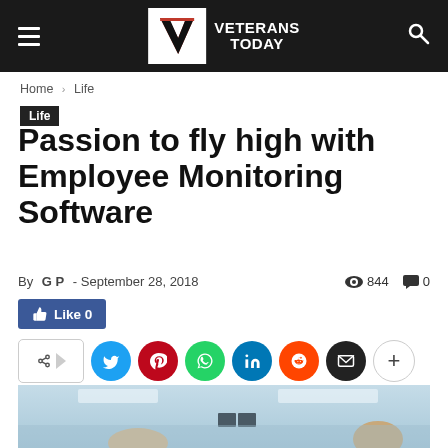Veterans Today
Home › Life
Life
Passion to fly high with Employee Monitoring Software
By G P - September 28, 2018   844   0
[Figure (screenshot): Social sharing buttons row: Like button, Twitter, Pinterest, WhatsApp, LinkedIn, Reddit, Email, More]
[Figure (photo): Office scene with people at computers, light blue office interior background]